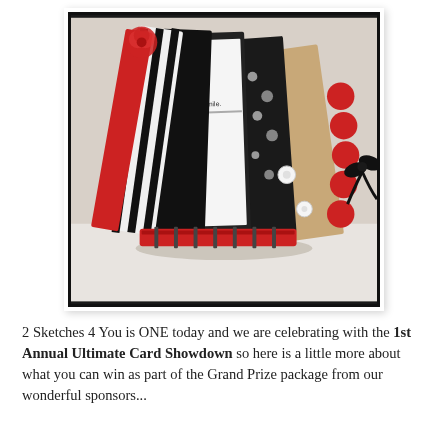[Figure (photo): A handmade accordion-style card book/album photographed against a white background. The book is fanned open showing multiple decorated pages/cards in red, black, and kraft brown colors with patterned paper, ribbons, and embellishments. The outer cover has a black border frame around the photo.]
2 Sketches 4 You is ONE today and we are celebrating with the 1st Annual Ultimate Card Showdown so here is a little more about what you can win as part of the Grand Prize package from our wonderful sponsors...